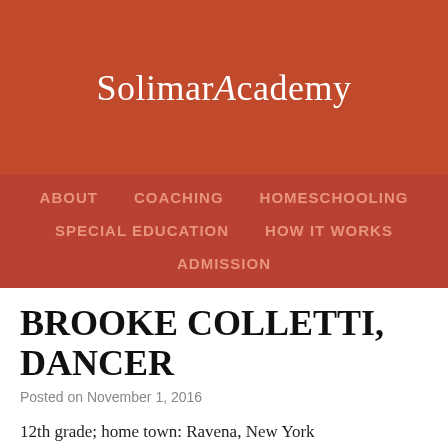Solimar Academy
ABOUT   COACHING   HOMESCHOOLING   SPECIAL EDUCATION   HOW IT WORKS   ADMISSION
BROOKE COLLETTI, DANCER
Posted on November 1, 2016
12th grade; home town: Ravena, New York
I am a dancer and I currently train in Louisiana at Tokyo the Academy. I train in contemporary, tap, jazz, ballet, and hip hop. I